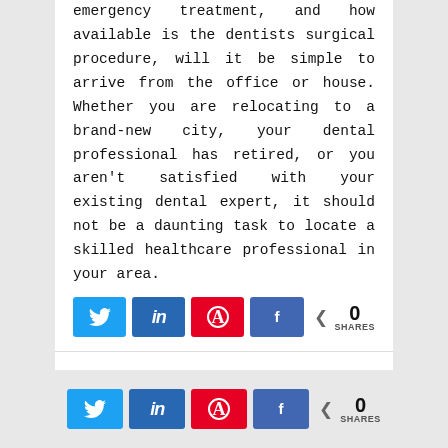emergency treatment, and how available is the dentists surgical procedure, will it be simple to arrive from the office or house. Whether you are relocating to a brand-new city, your dental professional has retired, or you aren't satisfied with your existing dental expert, it should not be a daunting task to locate a skilled healthcare professional in your area.
[Figure (infographic): Social share buttons: Twitter (blue), LinkedIn (dark blue, italic 'in'), Pinterest (red, 'A' with circle), Facebook (blue, 'f'). Share count showing '0 SHARES'.]
[Figure (infographic): Bottom social share buttons row: Twitter (blue), LinkedIn (dark blue), Pinterest (red), Facebook (blue). Share count showing '0 SHARES'.]